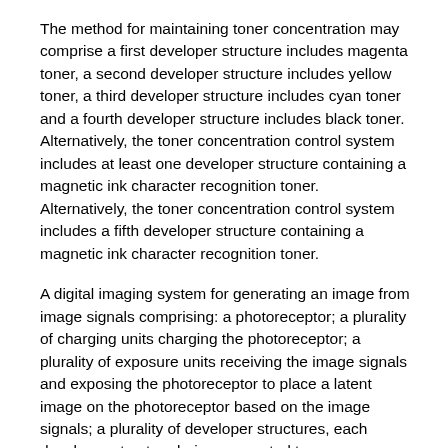The method for maintaining toner concentration may comprise a first developer structure includes magenta toner, a second developer structure includes yellow toner, a third developer structure includes cyan toner and a fourth developer structure includes black toner. Alternatively, the toner concentration control system includes at least one developer structure containing a magnetic ink character recognition toner. Alternatively, the toner concentration control system includes a fifth developer structure containing a magnetic ink character recognition toner.
A digital imaging system for generating an image from image signals comprising: a photoreceptor; a plurality of charging units charging the photoreceptor; a plurality of exposure units receiving the image signals and exposing the photoreceptor to place a latent image on the photoreceptor based on the image signals; a plurality of developer structures, each developer structure being connected to a corresponding dispenser, and each dispenser having a different toner; a plurality of toner mass estimators providing toner mass estimates to be applied to a photoreceptor by way of the developer structures; a plurality of feed forward dispense units receiving the toner